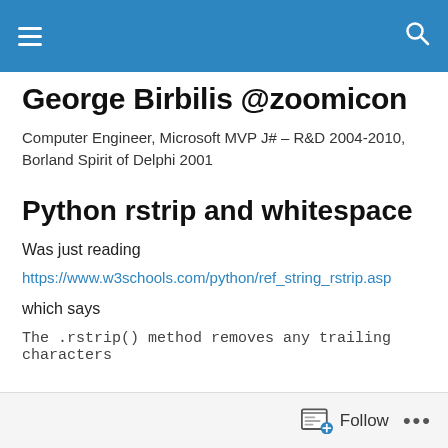George Birbilis @zoomicon — navigation bar
George Birbilis @zoomicon
Computer Engineer, Microsoft MVP J# – R&D 2004-2010, Borland Spirit of Delphi 2001
Python rstrip and whitespace
Was just reading
https://www.w3schools.com/python/ref_string_rstrip.asp
which says
The .rstrip() method removes any trailing characters
Follow ...